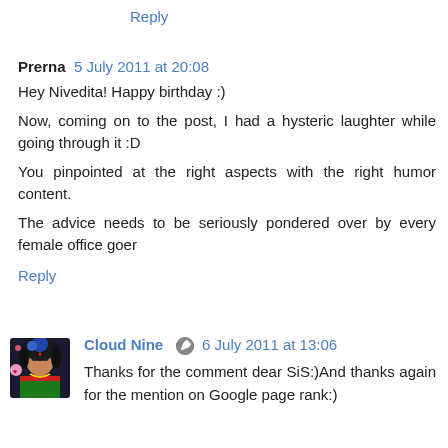Reply
Prerna  5 July 2011 at 20:08
Hey Nivedita! Happy birthday :)
Now, coming on to the post, I had a hysteric laughter while going through it :D
You pinpointed at the right aspects with the right humor content.
The advice needs to be seriously pondered over by every female office goer
Reply
Cloud Nine  6 July 2011 at 13:06
Thanks for the comment dear SiS:)And thanks again for the mention on Google page rank:)